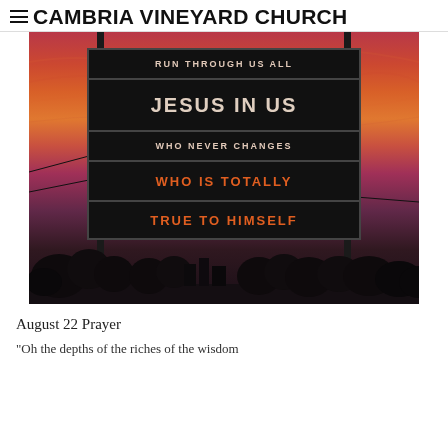CAMBRIA VINEYARD CHURCH
[Figure (photo): A photograph of a church billboard sign at sunset showing text: RUN THROUGH US ALL / JESUS IN US / WHO NEVER CHANGES / WHO IS TOTALLY / TRUE TO HIMSELF. The billboard is backlit by a dramatic orange and pink sunset sky with silhouetted trees in the foreground.]
August 22 Prayer
"Oh the depths of the riches of the wisdom